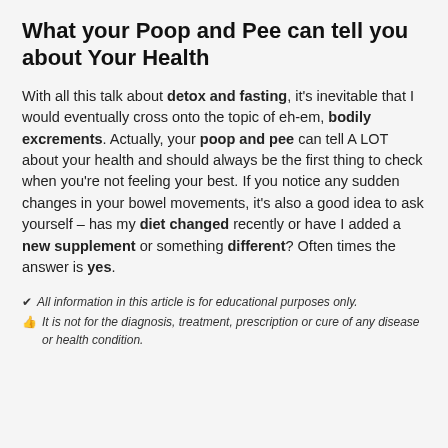What your Poop and Pee can tell you about Your Health
With all this talk about detox and fasting, it's inevitable that I would eventually cross onto the topic of eh-em, bodily excrements. Actually, your poop and pee can tell A LOT about your health and should always be the first thing to check when you're not feeling your best. If you notice any sudden changes in your bowel movements, it's also a good idea to ask yourself – has my diet changed recently or have I added a new supplement or something different? Often times the answer is yes.
All information in this article is for educational purposes only.
It is not for the diagnosis, treatment, prescription or cure of any disease or health condition.